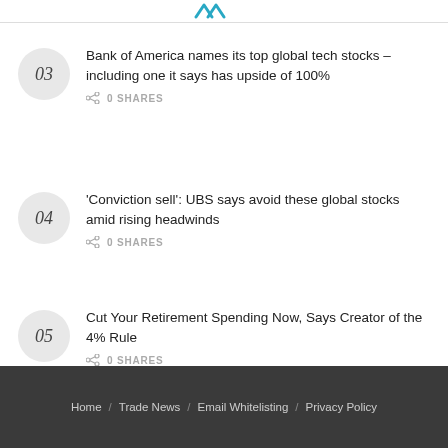Bank of America names its top global tech stocks – including one it says has upside of 100%
'Conviction sell': UBS says avoid these global stocks amid rising headwinds
Cut Your Retirement Spending Now, Says Creator of the 4% Rule
Home / Trade News / Email Whitelisting / Privacy Policy